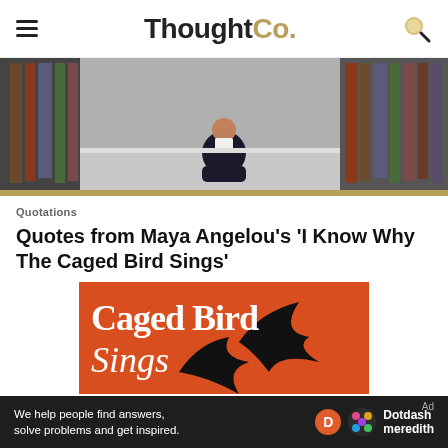ThoughtCo.
[Figure (photo): A person sitting on the floor of a library between bookshelves, reading a book]
Quotations
Quotes from Maya Angelou's 'I Know Why The Caged Bird Sings'
[Figure (photo): Book cover: Caged Bird Sings with orange background and black bird silhouette]
We help people find answers, solve problems and get inspired. Dotdash meredith